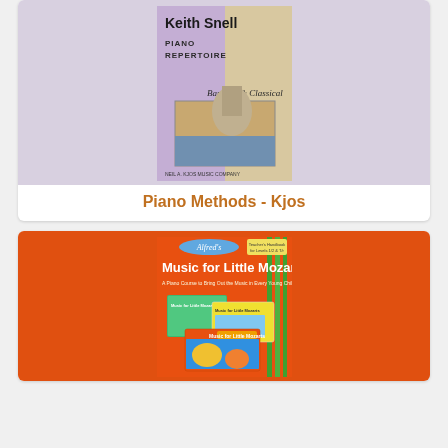[Figure (photo): Keith Snell Piano Repertoire - Baroque & Classical book cover with image of St Paul's Cathedral London and a bridge scene]
Piano Methods - Kjos
[Figure (photo): Alfred's Music for Little Mozarts - A Piano Course to Bring Out the Music in Every Young Child - Teacher's Handbook for Levels 1,2 & 3 with multiple colorful book covers shown]